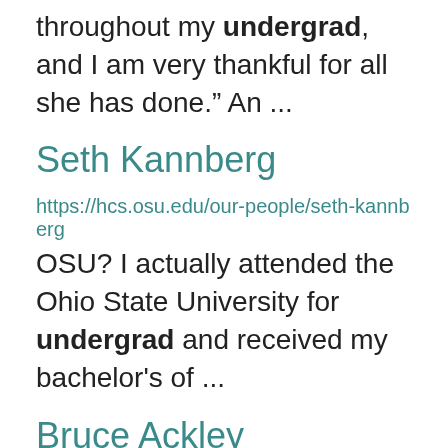throughout my undergrad, and I am very thankful for all she has done.” An ...
Seth Kannberg
https://hcs.osu.edu/our-people/seth-kannberg
OSU? I actually attended the Ohio State University for undergrad and received my bachelor’s of ...
Bruce Ackley
https://hcs.osu.edu/our-people/bruce-ackley
teaching  Rough career path that brought you to OSU In undergrad I was doing well in my classes & one ...